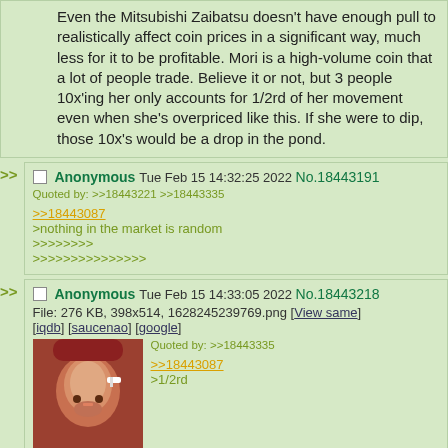Even the Mitsubishi Zaibatsu doesn't have enough pull to realistically affect coin prices in a significant way, much less for it to be profitable. Mori is a high-volume coin that a lot of people trade. Believe it or not, but 3 people 10x'ing her only accounts for 1/2rd of her movement even when she's overpriced like this. If she were to dip, those 10x's would be a drop in the pond.
Anonymous Tue Feb 15 14:32:25 2022 No.18443191
Quoted by: >>18443221 >>18443335
>>18443087
>nothing in the market is random
>>>>>>>>
>>>>>>>>>>>>>>>
Anonymous Tue Feb 15 14:33:05 2022 No.18443218
File: 276 KB, 398x514, 1628245239769.png [View same] [iqdb] [saucenao] [google]
Quoted by: >>18443335
>>18443087
>1/2rd